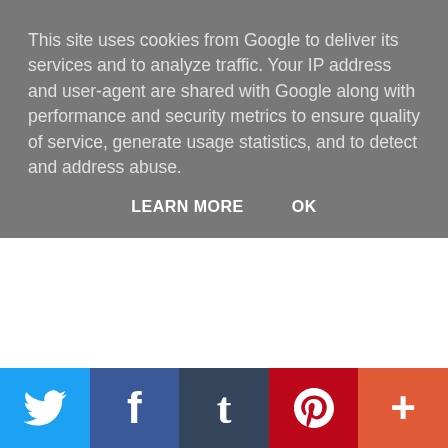This site uses cookies from Google to deliver its services and to analyze traffic. Your IP address and user-agent are shared with Google along with performance and security metrics to ensure quality of service, generate usage statistics, and to detect and address abuse.
LEARN MORE    OK
Vision and the Scarlet Witch's smooch times:
[Figure (other): Social media sharing bar with Twitter, Facebook, Tumblr, Pinterest, and More (+) buttons]